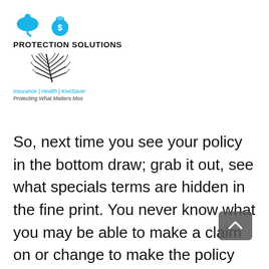[Figure (logo): Protection Solutions logo with two icons (person and piggy bank), fern leaf graphic, company name, taglines]
So, next time you see your policy in the bottom draw; grab it out, see what specials terms are hidden in the fine print. You never know what you may be able to make a claim on or change to make the policy better suited to your current needs. If you are not able to find your policy, give us a call or drop us an email, as we can always request a copy for you. And of course, we